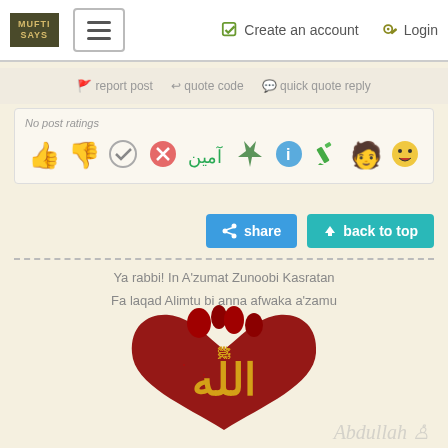MUFTI SAYS | Create an account | Login
report post  quote code  quick quote reply
No post ratings
[Figure (other): Row of reaction emoji/icons: thumbs up, thumbs down, checkmark, X, Ameen (Arabic), star, info, pen/edit, person, laughing face]
[Figure (other): Share button (blue) and back to top button (teal)]
Ya rabbi! In A'zumat Zunoobi Kasratan
Fa laqad Alimtu bi anna afwaka a'zamu
[Figure (illustration): Red anatomical heart with golden Arabic calligraphy of 'Allah' written on it]
Abdullah (watermark signature)